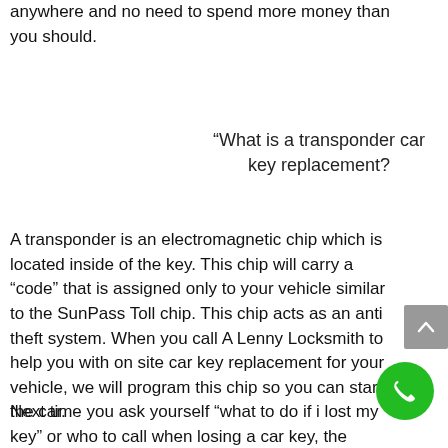anywhere and no need to spend more money than you should.
“What is a transponder car key replacement?
A transponder is an electromagnetic chip which is located inside of the key. This chip will carry a “code” that is assigned only to your vehicle similar to the SunPass Toll chip. This chip acts as an anti theft system. When you call A Lenny Locksmith to help you with on site car key replacement for your vehicle, we will program this chip so you can start the car.
Next time you ask yourself “what to do if i lost my key” or who to call when losing a car key, the answer